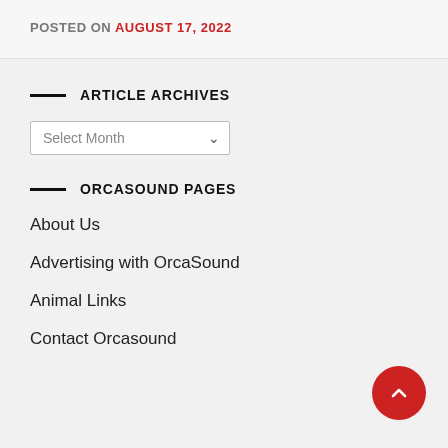POSTED ON AUGUST 17, 2022
ARTICLE ARCHIVES
[Figure (other): Select Month dropdown widget]
ORCASOUND PAGES
About Us
Advertising with OrcaSound
Animal Links
Contact Orcasound